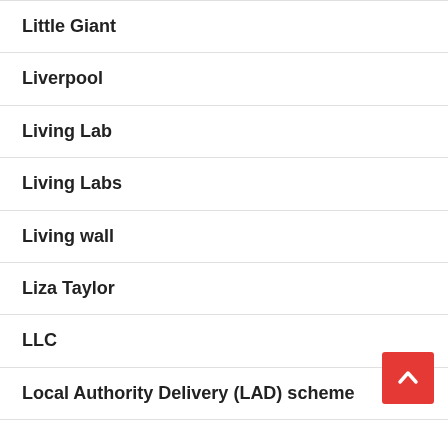Little Giant
Liverpool
Living Lab
Living Labs
Living wall
Liza Taylor
LLC
Local Authority Delivery (LAD) scheme